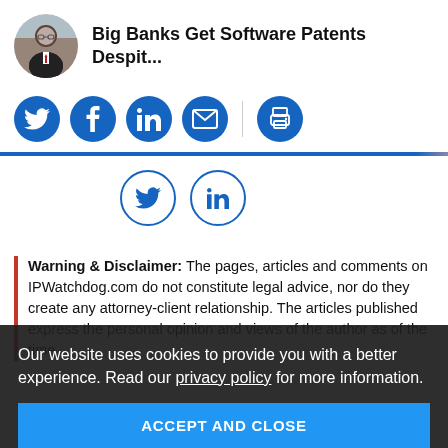Big Banks Get Software Patents Despit...
[Figure (infographic): Social share buttons row: Twitter, Facebook, LinkedIn, Email (filled blue circles), then a divider, then a print icon (filled blue circle)]
[Figure (infographic): Outline social share buttons: Twitter bird icon and LinkedIn icon, both in blue outline circles]
Warning & Disclaimer: The pages, articles and comments on IPWatchdog.com do not constitute legal advice, nor do they create any attorney-client relationship. The articles published express the personal opinion and views of the author as of the time ... the IPWatchdog.com. Read more
Our website uses cookies to provide you with a better experience. Read our privacy policy for more information.
ACCEPT AND CLOSE